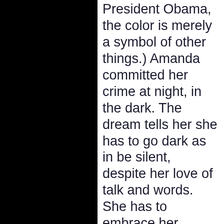President Obama, the color is merely a symbol of other things.) Amanda committed her crime at night, in the dark. The dream tells her she has to go dark as in be silent, despite her love of talk and words. She has to embrace her opposite to get the smiling welcome home.